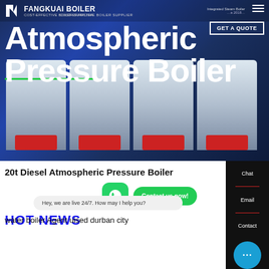[Figure (screenshot): Hero banner of a boiler supplier website showing industrial boilers in background with dark blue overlay]
Atmospheric Pressure Boiler
COST-EFFECTIVE BOILER SUPPLIER
20t Diesel Atmospheric Pressure Boiler
HOT NEWS
Hey, we are live 24/7. How may I help you?
water boiler Agent uised durban city